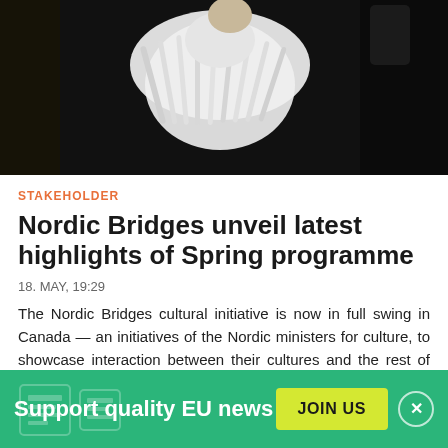[Figure (photo): Person wearing a large sculptural white fabric/paper costume against a dark background]
STAKEHOLDER
Nordic Bridges unveil latest highlights of Spring programme
18. MAY, 19:29
The Nordic Bridges cultural initiative is now in full swing in Canada — an initiatives of the Nordic ministers for culture, to showcase interaction between their cultures and the rest of the world.
SUPPORTED BY
Support quality EU news
JOIN US